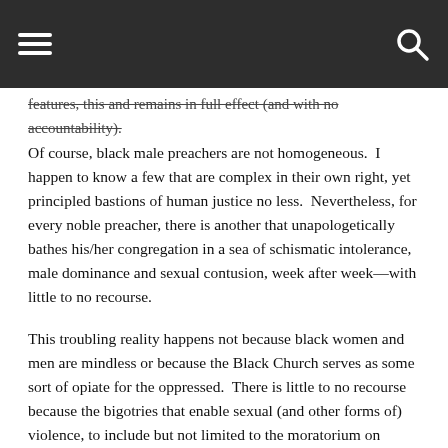[Navigation bar with hamburger menu and search icon]
features, this and remains in full effect (and with no accountability). Of course, black male preachers are not homogeneous. I happen to know a few that are complex in their own right, yet principled bastions of human justice no less. Nevertheless, for every noble preacher, there is another that unapologetically bathes his/her congregation in a sea of schismatic intolerance, male dominance and sexual contusion, week after week—with little to no recourse.
This troubling reality happens not because black women and men are mindless or because the Black Church serves as some sort of opiate for the oppressed. There is little to no recourse because the bigotries that enable sexual (and other forms of) violence, to include but not limited to the moratorium on snitching, are often structural and thus either overlooked or dismissed. That is, deeply sedimented ideas regarding gender and familial relations, often found in sermonic (and other) representations, procure injurious theological alibis for sexual violence by justifying and normalizing phallocentric superiority and entitlement, and by reinforcing cultural stereotypes about black female compliance in the the…